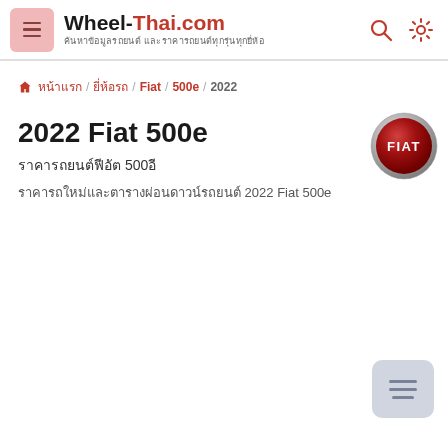Wheel-Thai.com — Thai automotive website header with menu, logo, search and settings icons
หน้าแรก / ยี่ห้อรถ / Fiat / 500e / 2022
2022 Fiat 500e
ราคารถยนต์ฟีอัต 500อี
ราคารถใหม่และตารางผ่อนดาวน์รถยนต์ 2022 Fiat 500e
[Figure (logo): Fiat brand logo — circular red badge with white FIAT text and chrome border]